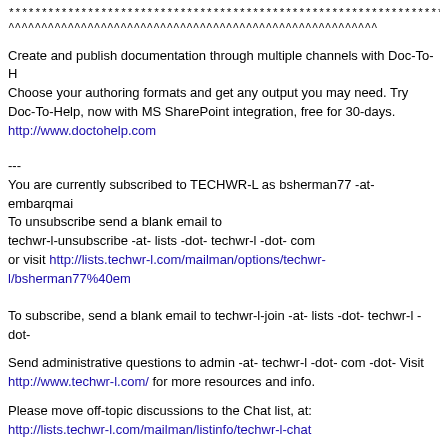************************************************************************************
^^^^^^^^^^^^^^^^^^^^^^^^^^^^^^^^^^^^^^^^^^^^^^^^^^^^^^^^
Create and publish documentation through multiple channels with Doc-To-Help. Choose your authoring formats and get any output you may need. Try Doc-To-Help, now with MS SharePoint integration, free for 30-days. http://www.doctohelp.com
---
You are currently subscribed to TECHWR-L as bsherman77 -at- embarqmail To unsubscribe send a blank email to techwr-l-unsubscribe -at- lists -dot- techwr-l -dot- com or visit http://lists.techwr-l.com/mailman/options/techwr-l/bsherman77%40em
To subscribe, send a blank email to techwr-l-join -at- lists -dot- techwr-l -dot-
Send administrative questions to admin -at- techwr-l -dot- com -dot- Visit http://www.techwr-l.com/ for more resources and info.
Please move off-topic discussions to the Chat list, at: http://lists.techwr-l.com/mailman/listinfo/techwr-l-chat
-----
No virus found in this message.
Checked by AVG - www.avg.com
Version: 10.0.1382 / Virus Database: 1513/3699 - Release Date: 06/12/11